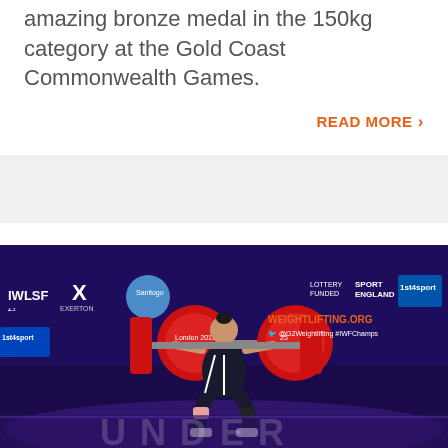amazing bronze medal in the 150kg category at the Gold Coast Commonwealth Games.
READ MORE >
[Figure (photo): A female weightlifter performing a clean and jerk lift on a competition stage with purple lighting. Background shows banners including IWLSF, Sport England, 4sport, London 2015, and WEIGHTLIFTING.ORG logos. Text 'UNDER' visible faintly at bottom.]